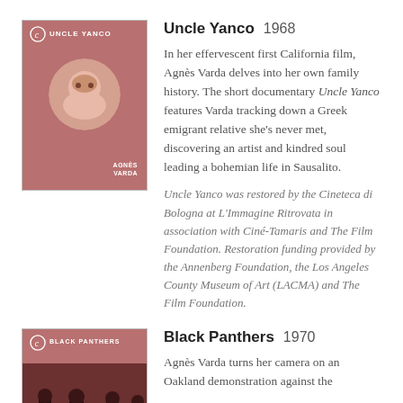[Figure (photo): Criterion Collection cover for Uncle Yanco film, showing a man in a circular frame against a reddish-brown background]
Uncle Yanco  1968
In her effervescent first California film, Agnès Varda delves into her own family history. The short documentary Uncle Yanco features Varda tracking down a Greek emigrant relative she's never met, discovering an artist and kindred soul leading a bohemian life in Sausalito.
Uncle Yanco was restored by the Cineteca di Bologna at L'Immagine Ritrovata in association with Ciné-Tamaris and The Film Foundation. Restoration funding provided by the Annenberg Foundation, the Los Angeles County Museum of Art (LACMA) and The Film Foundation.
[Figure (photo): Criterion Collection cover for Black Panthers film, showing a group of people at a demonstration against a reddish-brown background]
Black Panthers  1970
Agnès Varda turns her camera on an Oakland demonstration against the